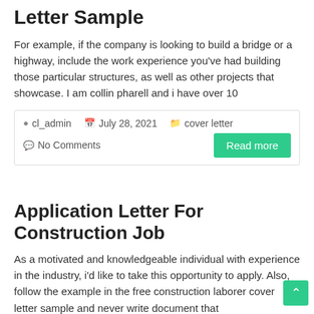Letter Sample
For example, if the company is looking to build a bridge or a highway, include the work experience you’ve had building those particular structures, as well as other projects that showcase. I am collin pharell and i have over 10
cl_admin   July 28, 2021   cover letter   No Comments   Read more
Application Letter For Construction Job
As a motivated and knowledgeable individual with experience in the industry, i’d like to take this opportunity to apply. Also, follow the example in the free construction laborer cover letter sample and never write document that